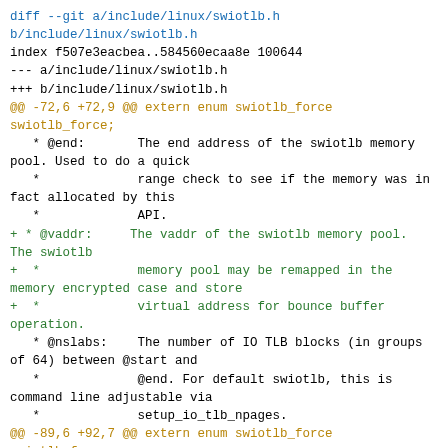diff --git a/include/linux/swiotlb.h b/include/linux/swiotlb.h
index f507e3eacbea..584560ecaa8e 100644
--- a/include/linux/swiotlb.h
+++ b/include/linux/swiotlb.h
@@ -72,6 +72,9 @@ extern enum swiotlb_force swiotlb_force;
   * @end:       The end address of the swiotlb memory pool. Used to do a quick
   *             range check to see if the memory was in fact allocated by this
   *             API.
+ * @vaddr:     The vaddr of the swiotlb memory pool. The swiotlb
+  *             memory pool may be remapped in the memory encrypted case and store
+  *             virtual address for bounce buffer operation.
   * @nslabs:    The number of IO TLB blocks (in groups of 64) between @start and
   *             @end. For default swiotlb, this is command line adjustable via
   *             setup_io_tlb_npages.
@@ -89,6 +92,7 @@ extern enum swiotlb_force swiotlb_force;
 struct io_tlb_mem {
         phys_addr_t start;
         phys_addr_t end;
+        void *vaddr;